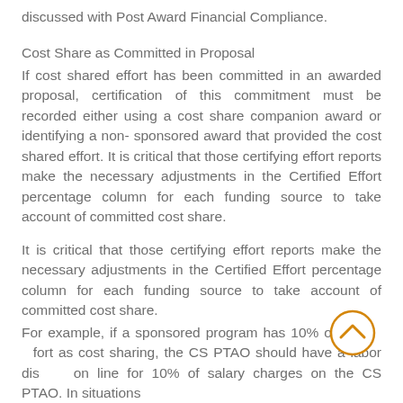discussed with Post Award Financial Compliance.
Cost Share as Committed in Proposal
If cost shared effort has been committed in an awarded proposal, certification of this commitment must be recorded either using a cost share companion award or identifying a non-sponsored award that provided the cost shared effort. It is critical that those certifying effort reports make the necessary adjustments in the Certified Effort percentage column for each funding source to take account of committed cost share.
It is critical that those certifying effort reports make the necessary adjustments in the Certified Effort percentage column for each funding source to take account of committed cost share.
For example, if a sponsored program has 10% of faculty effort as cost sharing, the CS PTAO should have a labor distribution line for 10% of salary charges on the CS PTAO. In situations